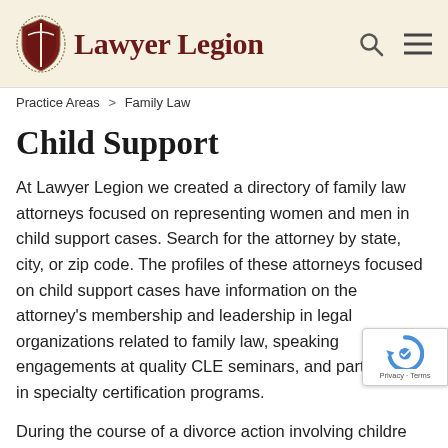Lawyer Legion
Practice Areas  >  Family Law
Child Support
At Lawyer Legion we created a directory of family law attorneys focused on representing women and men in child support cases. Search for the attorney by state, city, or zip code. The profiles of these attorneys focused on child support cases have information on the attorney's membership and leadership in legal organizations related to family law, speaking engagements at quality CLE seminars, and participation in specialty certification programs.
During the course of a divorce action involving childre parties will reach agreement or the court will decide the